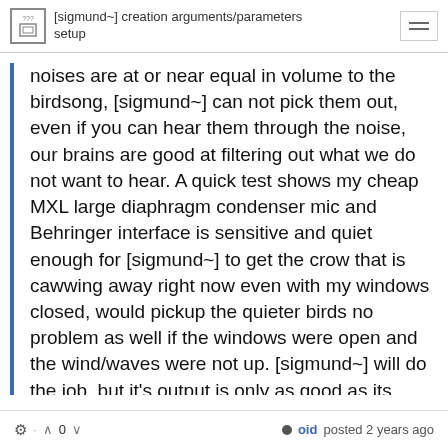[sigmund~] creation arguments&#x2F;parameters setup
noises are at or near equal in volume to the birdsong, [sigmund~] can not pick them out, even if you can hear them through the noise, our brains are good at filtering out what we do not want to hear. A quick test shows my cheap MXL large diaphragm condenser mic and Behringer interface is sensitive and quiet enough for [sigmund~] to get the crow that is cawwing away right now even with my windows closed, would pickup the quieter birds no problem as well if the windows were open and the wind/waves were not up. [sigmund~] will do the job, but it's output is only as good as its input.
oid posted 2 years ago